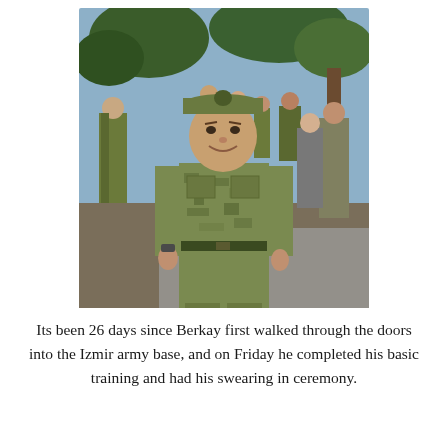[Figure (photo): A young man in Turkish military camouflage uniform and cap smiling, standing outdoors at what appears to be a military base. Other soldiers and civilians are visible in the background among trees.]
Its been 26 days since Berkay first walked through the doors into the Izmir army base, and on Friday he completed his basic training and had his swearing in ceremony.